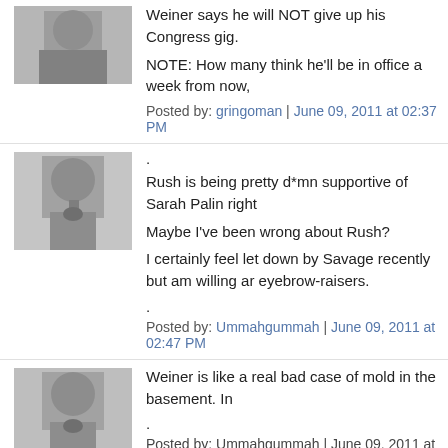[Figure (photo): Avatar image of commenter gringoman - appears to be a grayscale photo]
Weiner says he will NOT give up his Congress gig.
NOTE: How many think he'll be in office a week from now,
Posted by: gringoman | June 09, 2011 at 02:37 PM
[Figure (photo): Avatar image of commenter Ummahgummah - appears to be a grayscale photo]
.
Rush is being pretty d*mn supportive of Sarah Palin right
Maybe I've been wrong about Rush?
I certainly feel let down by Savage recently but am willing ar eyebrow-raisers.
.
Posted by: Ummahgummah | June 09, 2011 at 02:47 PM
[Figure (photo): Avatar image of commenter Ummahgummah - grayscale photo]
Weiner is like a real bad case of mold in the basement. In
.
Posted by: Ummahgummah | June 09, 2011 at 01:11 AM
Perfect description of Weiner's psycho doppelganger at